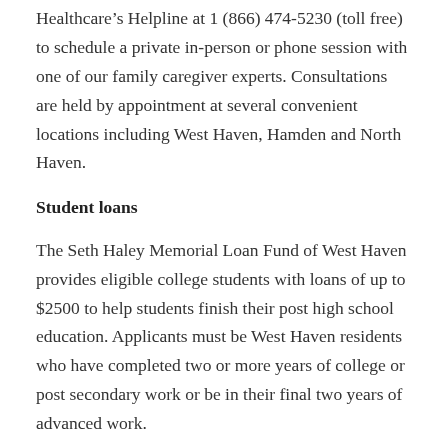Healthcare's Helpline at 1 (866) 474-5230 (toll free) to schedule a private in-person or phone session with one of our family caregiver experts. Consultations are held by appointment at several convenient locations including West Haven, Hamden and North Haven.
Student loans
The Seth Haley Memorial Loan Fund of West Haven provides eligible college students with loans of up to $2500 to help students finish their post high school education. Applicants must be West Haven residents who have completed two or more years of college or post secondary work or be in their final two years of advanced work.